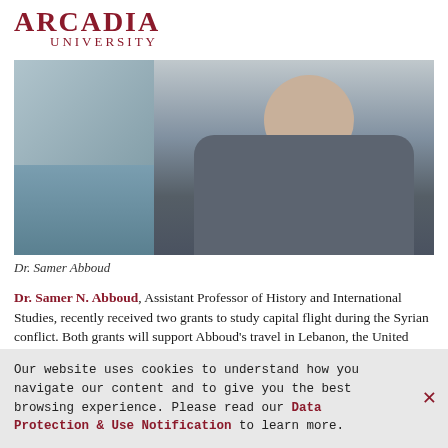[Figure (logo): Arcadia University logo with ARCADIA in bold dark red serif letters and UNIVERSITY below in spaced smaller letters]
[Figure (photo): Photo of Dr. Samer Abboud, a man wearing a dark gray v-neck sweater, standing outdoors near water with rocky background]
Dr. Samer Abboud
Dr. Samer N. Abboud, Assistant Professor of History and International Studies, recently received two grants to study capital flight during the Syrian conflict. Both grants will support Abboud’s travel in Lebanon, the United Arab Emirates, and Qatar to conduct research with Syrians displaced during the conflict. This research aims to investigate the causes and long-term consequences of capital flight in the conflict and post-conflict periods.
Our website uses cookies to understand how you navigate our content and to give you the best browsing experience. Please read our Data Protection & Use Notification to learn more.